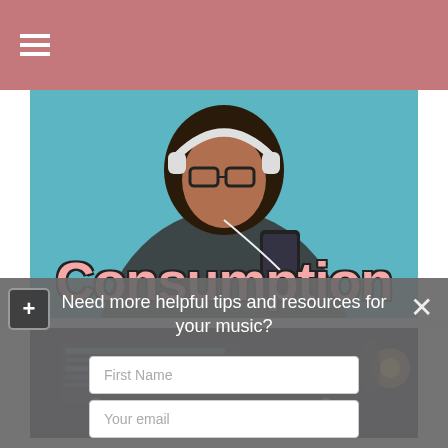[Figure (screenshot): Navigation bar with hamburger menu icon on pink/rose background]
[Figure (photo): Person with headphones listening to music against teal background, with 'Consumption' text overlay in pink with dark outline]
[Figure (photo): Night scene with city lights and a person silhouette]
Need more helpful tips and resources for your music?
First Name
Your email
Submit!